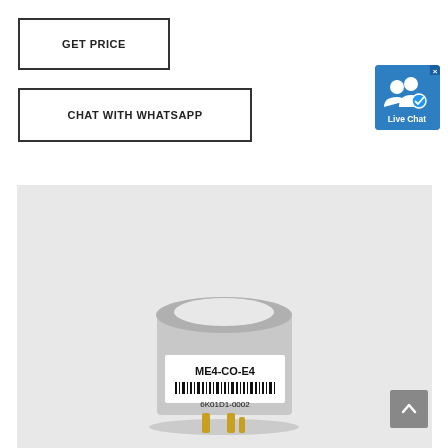GET PRICE
CHAT WITH WHATSAPP
[Figure (screenshot): Live Chat widget with blue background showing two person icons with a checkmark badge and 'Live Chat' text]
[Figure (photo): Product photo of a cylindrical electrochemical sensor labeled ME4-CO-E4 with barcode 6K01D1-0002, placed on light gray background]